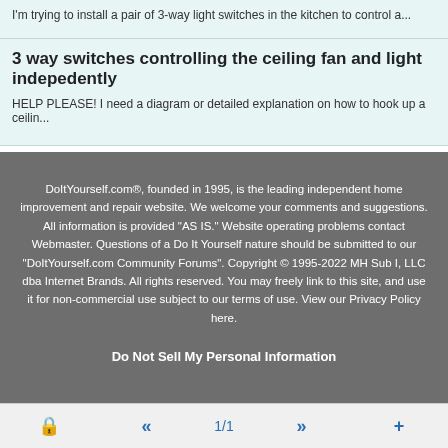I'm trying to install a pair of 3-way light switches in the kitchen to control a...
3 way switches controlling the ceiling fan and light indepedently
HELP PLEASE! I need a diagram or detailed explanation on how to hook up a ceilin...
DoItYourself.com®, founded in 1995, is the leading independent home improvement and repair website. We welcome your comments and suggestions. All information is provided "AS IS." Website operating problems contact Webmaster. Questions of a Do It Yourself nature should be submitted to our "DoItYourself.com Community Forums". Copyright © 1995-2022 MH Sub I, LLC dba Internet Brands. All rights reserved. You may freely link to this site, and use it for non-commercial use subject to our terms of use. View our Privacy Policy here.
Do Not Sell My Personal Information
« 1/1 »